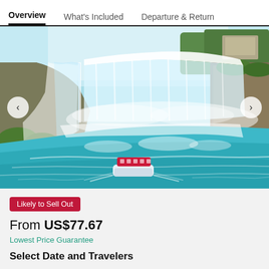Overview | What's Included | Departure & Return
[Figure (photo): Aerial view of Niagara Falls with Horseshoe Falls and a red tourist boat on turquoise water, with green rocky cliffs and mist]
Likely to Sell Out
From US$77.67
Lowest Price Guarantee
Select Date and Travelers